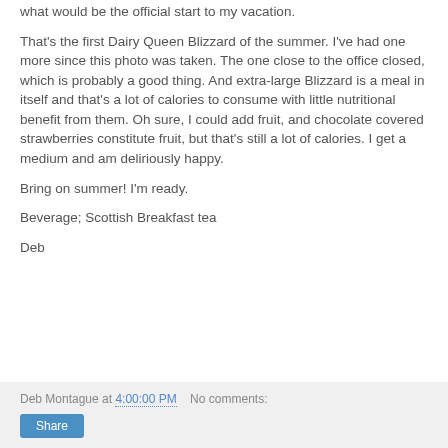what would be the official start to my vacation.
That's the first Dairy Queen Blizzard of the summer. I've had one more since this photo was taken. The one close to the office closed, which is probably a good thing. And extra-large Blizzard is a meal in itself and that's a lot of calories to consume with little nutritional benefit from them. Oh sure, I could add fruit, and chocolate covered strawberries constitute fruit, but that's still a lot of calories. I get a medium and am deliriously happy.
Bring on summer! I'm ready.
Beverage;  Scottish Breakfast tea
Deb
Deb Montague at 4:00:00 PM   No comments:   Share